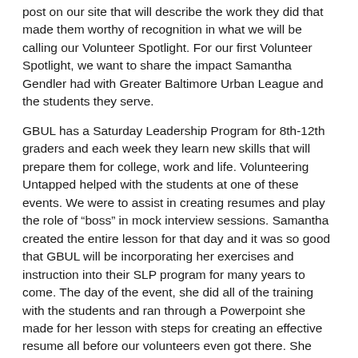post on our site that will describe the work they did that made them worthy of recognition in what we will be calling our Volunteer Spotlight. For our first Volunteer Spotlight, we want to share the impact Samantha Gendler had with Greater Baltimore Urban League and the students they serve.
GBUL has a Saturday Leadership Program for 8th-12th graders and each week they learn new skills that will prepare them for college, work and life. Volunteering Untapped helped with the students at one of these events. We were to assist in creating resumes and play the role of “boss” in mock interview sessions. Samantha created the entire lesson for that day and it was so good that GBUL will be incorporating her exercises and instruction into their SLP program for many years to come. The day of the event, she did all of the training with the students and ran through a Powerpoint she made for her lesson with steps for creating an effective resume all before our volunteers even got there. She also provided the volunteers with resume templates to guide the students and a few sets of mock interview questions. She put in a tremendous amount of time and effort and each of the students benefited from the lessons she taught, advice she gave and take-home sheets she created. The work she put in and